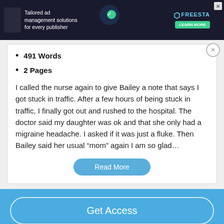[Figure (screenshot): Dark advertisement banner for FREESTA ad management solutions with green Learn More button and X close button]
491 Words
2 Pages
I called the nurse again to give Bailey a note that says I got stuck in traffic. After a few hours of being stuck in traffic, I finally got out and rushed to the hospital. The doctor said my daughter was ok and that she only had a migraine headache. I asked if it was just a fluke. Then Bailey said her usual “mom” again I am so glad…
Read More
Get Access